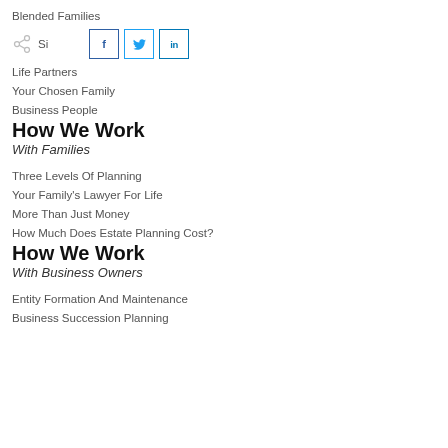Blended Families
Single Parents
Life Partners
Your Chosen Family
Business People
How We Work
With Families
Three Levels Of Planning
Your Family's Lawyer For Life
More Than Just Money
How Much Does Estate Planning Cost?
How We Work
With Business Owners
Entity Formation And Maintenance
Business Succession Planning